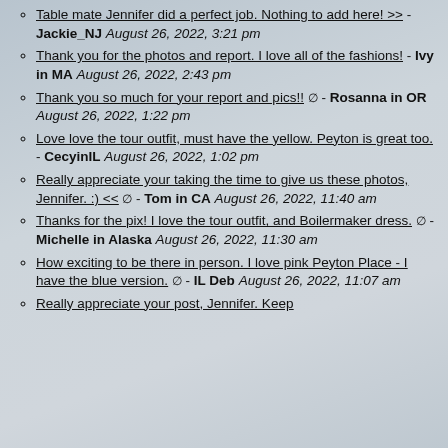Table mate Jennifer did a perfect job. Nothing to add here! >> - Jackie_NJ August 26, 2022, 3:21 pm
Thank you for the photos and report. I love all of the fashions! - Ivy in MA August 26, 2022, 2:43 pm
Thank you so much for your report and pics!! ø - Rosanna in OR August 26, 2022, 1:22 pm
Love love the tour outfit, must have the yellow. Peyton is great too. - CecyinIL August 26, 2022, 1:02 pm
Really appreciate your taking the time to give us these photos, Jennifer. :) << ø - Tom in CA August 26, 2022, 11:40 am
Thanks for the pix! I love the tour outfit, and Boilermaker dress. ø - Michelle in Alaska August 26, 2022, 11:30 am
How exciting to be there in person. I love pink Peyton Place - I have the blue version. ø - IL Deb August 26, 2022, 11:07 am
Really appreciate your post, Jennifer. Keep